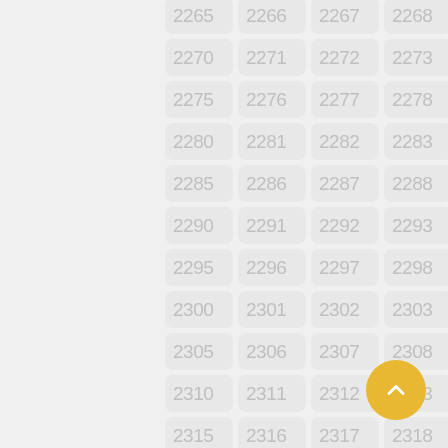[Figure (other): A grid of numbered cells (2265–2319) arranged in 5 columns and 12 rows, each cell showing a light gray rounded rectangle with a number in thin gray font. A yellow circular back-to-top button with an upward chevron is in the bottom right corner.]